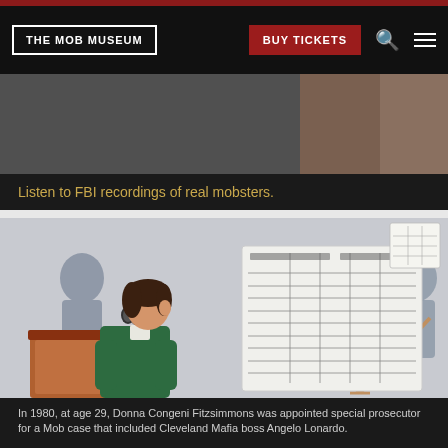THE MOB MUSEUM | BUY TICKETS
Listen to FBI recordings of real mobsters.
[Figure (illustration): Courtroom illustration showing a woman at a podium speaking into a microphone, with a large chart on an easel beside her and silhouetted figures in the background.]
In 1980, at age 29, Donna Congeni Fitzsimmons was appointed special prosecutor for a Mob case that included Cleveland Mafia boss Angelo Lonardo.